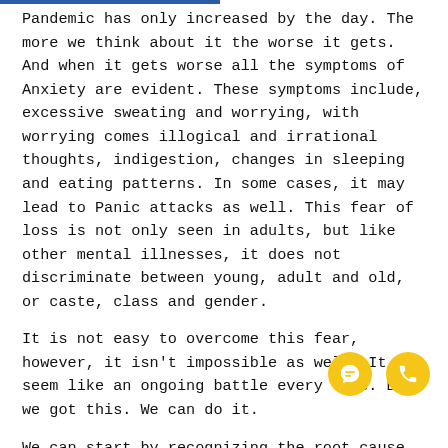Pandemic has only increased by the day. The more we think about it the worse it gets. And when it gets worse all the symptoms of Anxiety are evident. These symptoms include, excessive sweating and worrying, with worrying comes illogical and irrational thoughts, indigestion, changes in sleeping and eating patterns. In some cases, it may lead to Panic attacks as well. This fear of loss is not only seen in adults, but like other mental illnesses, it does not discriminate between young, adult and old, or caste, class and gender.
It is not easy to overcome this fear, however, it isn't impossible as well. It may seem like an ongoing battle every time. But, we got this. We can do it.
We can start by recognizing the root cause of the fear like is it the fear of loneliness or the fear that we may not be able to handle things. Giving it a thought may bring us to terms with how to deal with it. It will help us find ways